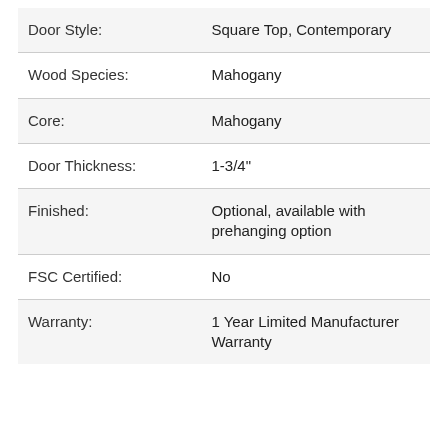| Attribute | Value |
| --- | --- |
| Door Style: | Square Top, Contemporary |
| Wood Species: | Mahogany |
| Core: | Mahogany |
| Door Thickness: | 1-3/4" |
| Finished: | Optional, available with prehanging option |
| FSC Certified: | No |
| Warranty: | 1 Year Limited Manufacturer Warranty |